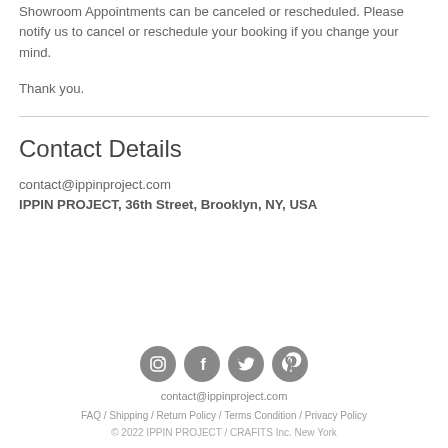Showroom Appointments can be canceled or rescheduled. Please notify us to cancel or reschedule your booking if you change your mind.
Thank you.
Contact Details
contact@ippinproject.com
IPPIN PROJECT, 36th Street, Brooklyn, NY, USA
[Figure (other): Four social media icon circles (Instagram, Facebook, Twitter, Pinterest) in gray]
contact@ippinproject.com
FAQ / Shipping / Return Policy / Terms Condition / Privacy Policy
© 2022 IPPIN PROJECT / CRAFITS Inc. New York